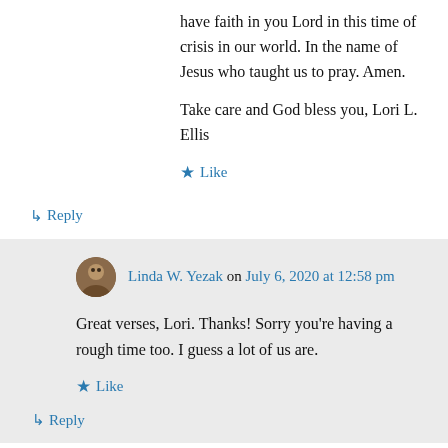have faith in you Lord in this time of crisis in our world. In the name of Jesus who taught us to pray. Amen.
Take care and God bless you, Lori L. Ellis
★ Like
↳ Reply
Linda W. Yezak on July 6, 2020 at 12:58 pm
Great verses, Lori. Thanks! Sorry you're having a rough time too. I guess a lot of us are.
★ Like
↳ Reply